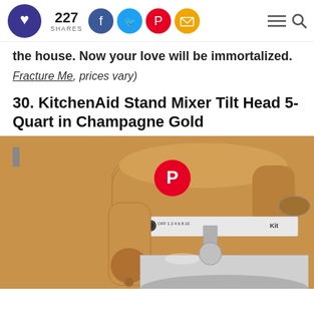227 SHARES [Facebook, Twitter, Pinterest, Email social share buttons] [menu] [search]
the house. Now your love will be immortalized.
(Fracture Me, prices vary)
30. KitchenAid Stand Mixer Tilt Head 5-Quart in Champagne Gold
[Figure (photo): KitchenAid Stand Mixer Tilt Head 5-Quart in Champagne Gold, showing the upper body of the mixer in a golden/champagne color with a silver bowl partially visible at the bottom. A Pinterest save button overlay appears on the image.]